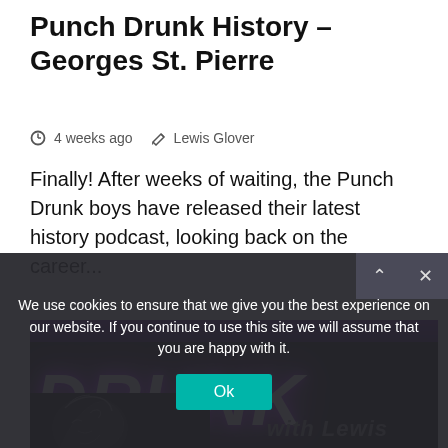Punch Drunk History – Georges St. Pierre
4 weeks ago   Lewis Glover
Finally! After weeks of waiting, the Punch Drunk boys have released their latest history podcast, looking back on the career...
[Figure (photo): Dark background with neon purple glowing 'DRUNK' text in italic bold font, purple bar at top, partial face illustration at bottom left, 'with Lewis' text at bottom right.]
We use cookies to ensure that we give you the best experience on our website. If you continue to use this site we will assume that you are happy with it.